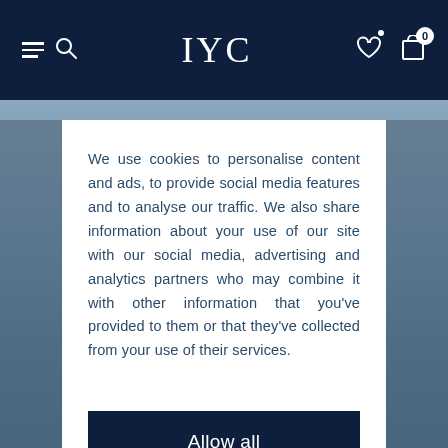IYC navigation header with search, logo, wishlist, and cart icons
We use cookies to personalise content and ads, to provide social media features and to analyse our traffic. We also share information about your use of our site with our social media, advertising and analytics partners who may combine it with other information that you've provided to them or that they've collected from your use of their services.
Allow all
Customize